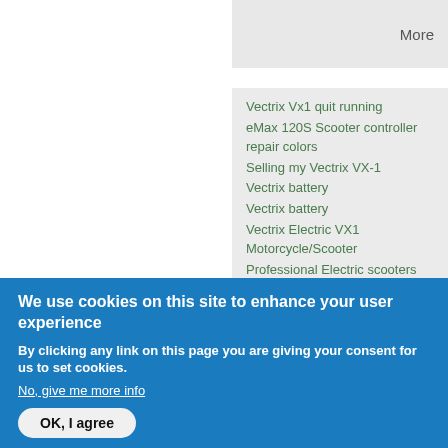More
Vectrix Vx1 quit running
eMax 120S Scooter controller repair colors
Selling my Vectrix VX-1
Vectrix battery
Vectrix battery
Vectrix Electric VX1 Motorcycle/Scooter
Professional Electric scooters Manufacturer,Exporter www.escooterschina.com
We use cookies on this site to enhance your user experience
By clicking any link on this page you are giving your consent for us to set cookies.
No, give me more info
OK, I agree